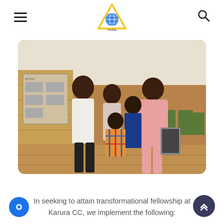Karura Community Chapel — navigation header with hamburger menu, logo, and search icon
[Figure (photo): A family of five posing together inside a tent/marquee venue. An adult man in a white shirt stands on the left, a woman in a pink dress on the right, and three children in between. The background shows white draping, chairs, and a notice board.]
In seeking to attain transformational fellowship at Karura CC, we implement the following: